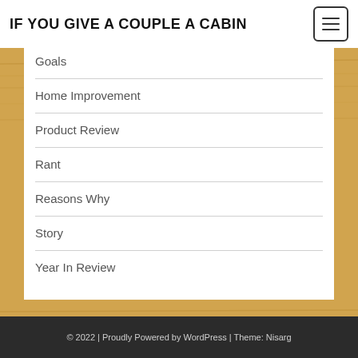IF YOU GIVE A COUPLE A CABIN
Goals
Home Improvement
Product Review
Rant
Reasons Why
Story
Year In Review
© 2022 | Proudly Powered by WordPress | Theme: Nisarg